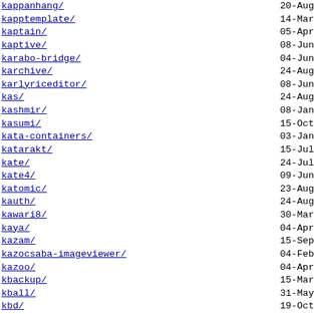kappanhang/ 20-Aug
kapptemplate/ 14-Mar
kaptain/ 05-Apr
kaptive/ 08-Jun
karabo-bridge/ 04-Jun
karchive/ 24-Aug
karlyriceditor/ 08-Jun
kas/ 24-Aug
kashmir/ 08-Jan
kasumi/ 15-Oct
kata-containers/ 03-Jan
katarakt/ 15-Jul
kate/ 24-Jul
kate4/ 09-Jun
katomic/ 23-Aug
kauth/ 24-Aug
kawari8/ 30-Mar
kaya/ 04-Apr
kazam/ 15-Sep
kazocsaba-imageviewer/ 04-Feb
kazoo/ 04-Apr
kbackup/ 15-Mar
kball/ 31-May
kbd/ 19-Oct
kbd-chooser/ 04-Apr
kbdd/ 06-Jun
kbibtex/ 26-Apr
kblackbox/ 23-Aug
kblocks/ 23-Aug
kblog/ 05-Feb